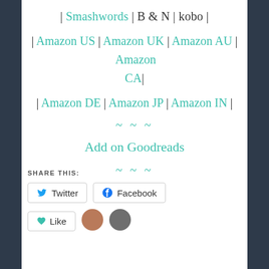| Smashwords | B & N | kobo |
| Amazon US | Amazon UK | Amazon AU | Amazon CA |
| Amazon DE | Amazon JP | Amazon IN |
~~~
Add on Goodreads
~~~
SHARE THIS:
Twitter  Facebook
Like